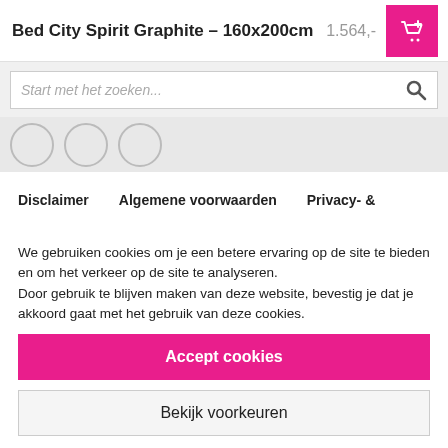Bed City Spirit Graphite – 160x200cm  1.564,-
[Figure (screenshot): Search bar with placeholder text 'Start met het zoeken...' and a search icon]
[Figure (screenshot): Three circular buttons partially visible]
Disclaimer   Algemene voorwaarden   Privacy- &
We gebruiken cookies om je een betere ervaring op de site te bieden en om het verkeer op de site te analyseren.
Door gebruik te blijven maken van deze website, bevestig je dat je akkoord gaat met het gebruik van deze cookies.
Accept cookies
Bekijk voorkeuren